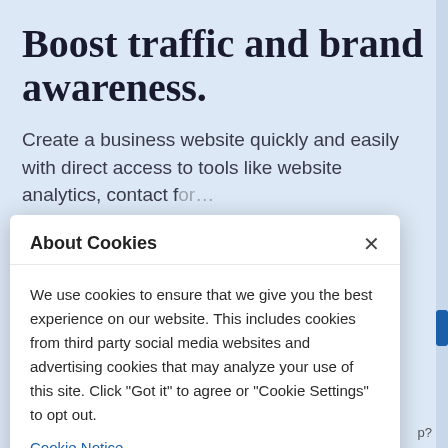Boost traffic and brand awareness.
Create a business website quickly and easily with direct access to tools like website analytics, contact f…
About Cookies
We use cookies to ensure that we give you the best experience on our website. This includes cookies from third party social media websites and advertising cookies that may analyze your use of this site. Click "Got it" to agree or "Cookie Settings" to opt out.
Cookie Notice
Got It
Cookies Settings